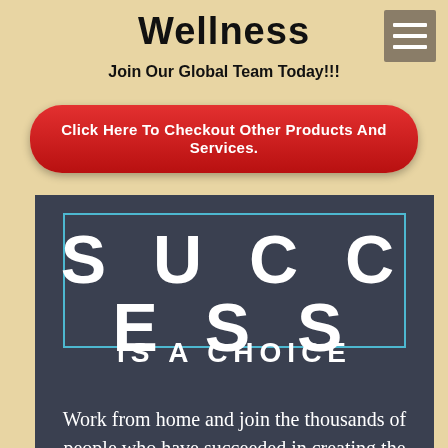Wellness
Join Our Global Team Today!!!
Click Here To Checkout Other Products And Services.
[Figure (infographic): Dark gray infographic panel with teal border. Large white text reads 'SUCCESS' in wide-spaced letters, below it 'IS A CHOICE'. Body text reads: Work from home and join the thousands of people who have succeeded in creating the lifestyle]